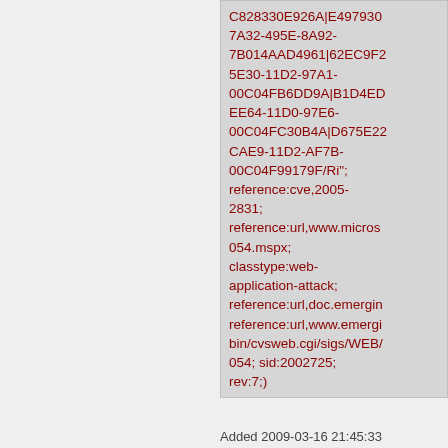C828330E926A|E4979307A32-495E-8A92-7B014AAD4961|62EC9F25E30-11D2-97A1-00C04FB6DD9A|B1D4EDEE64-11D0-97E6-00C04FC30B4A|D675E22CAE9-11D2-AF7B-00C04F99179F/Ri"; reference:cve,2005-2831; reference:url,www.micros054.mspx; classtype:web-application-attack; reference:url,doc.emergin reference:url,www.emergi bin/cvsweb.cgi/sigs/WEB/054; sid:2002725; rev:7;)
Added 2009-03-16 21:45:33